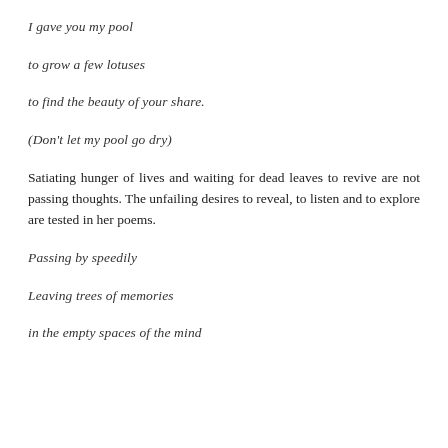I gave you my pool
to grow a few lotuses
to find the beauty of your share.
(Don't let my pool go dry)
Satiating hunger of lives and waiting for dead leaves to revive are not passing thoughts. The unfailing desires to reveal, to listen and to explore are tested in her poems.
Passing by speedily
Leaving trees of memories
in the empty spaces of the mind